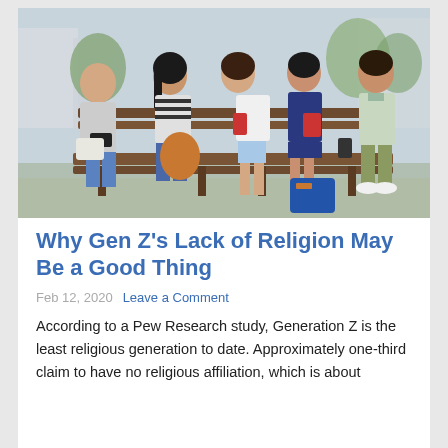[Figure (photo): Five young people (Generation Z) sitting on a bench outdoors, all looking at their smartphones. They have bags and casual clothes. Urban outdoor setting with trees and buildings in background.]
Why Gen Z's Lack of Religion May Be a Good Thing
Feb 12, 2020  Leave a Comment
According to a Pew Research study, Generation Z is the least religious generation to date. Approximately one-third claim to have no religious affiliation, which is about